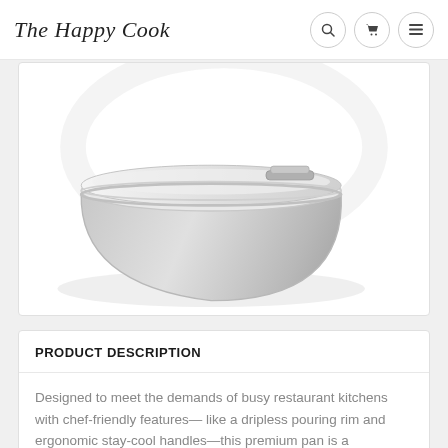The Happy Cook
[Figure (photo): A silver/gray stainless steel round cooking pot with a glass lid, viewed from a slightly elevated angle. The pot has a metallic sheen and a small latch/handle on the lid.]
PRODUCT DESCRIPTION
Designed to meet the demands of busy restaurant kitchens with chef-friendly features— like a dripless pouring rim and ergonomic stay-cool handles—this premium pan is a